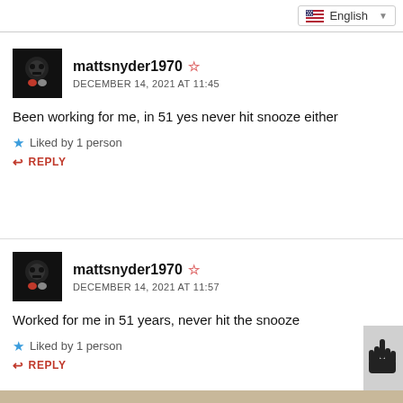English
mattsnyder1970 ☆
DECEMBER 14, 2021 AT 11:45
Been working for me, in 51 yes never hit snooze either
★ Liked by 1 person
↩ REPLY
mattsnyder1970 ☆
DECEMBER 14, 2021 AT 11:57
Worked for me in 51 years, never hit the snooze
★ Liked by 1 person
↩ REPLY